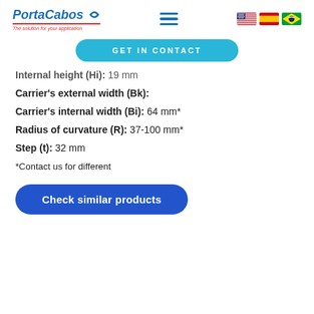PortaCabos — The solution for your application
GET IN CONTACT
Internal height (Hi): 19 mm
Carrier's external width (Bk):
Carrier's internal width (Bi): 64 mm*
Radius of curvature (R): 37-100 mm*
Step (t): 32 mm
*Contact us for different
Check similar products